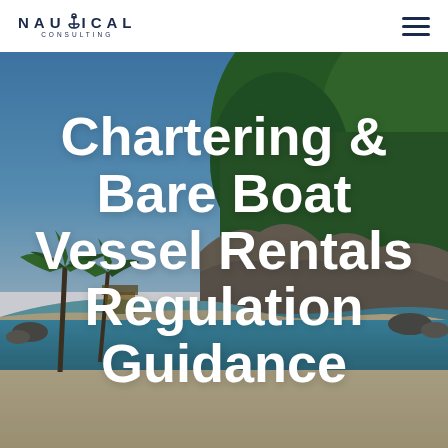NAUTICAL CONSULTING
[Figure (photo): Aerial/coastal photo showing a tropical beach scene with turquoise water, white sand, palm trees, and dense green vegetation on a rocky headland under a clear blue sky.]
Chartering & Bare Boat Vessel Rentals Regulation Guidance